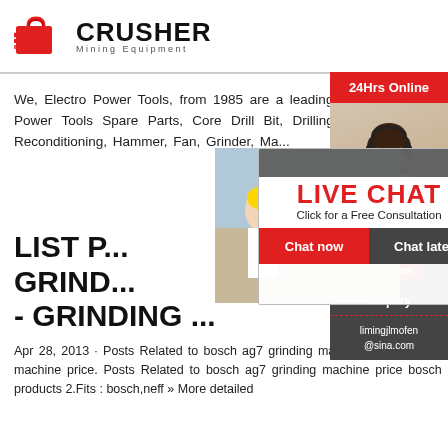[Figure (logo): Crusher Mining Equipment logo with red shopping bag icon and bold CRUSHER text]
We, Electro Power Tools, from 1985 are a leading Manufacturer Trader and Supplier of Motor Coil, Vacuum Cleaner Motor, Power Tools Spare Parts, Core Drill Bit, Drilling Machine, Car Polishing Machine, Mechanical Sewing Motor, Machine Reconditioning, Hammer, Fan, Grinder, Ma...
LIST P... GRIND... - GRINDING ...
Apr 28, 2013 · Posts Related to bosch ag7 grinding machine price list in india. flowchart for preparation of » more detailed. bosch grinding machine price. Posts Related to bosch ag7 grinding machine price bosch make grinding machine ag4 bosch angle grinding machine ag4 products 2.Fits : bosch,neff » More detailed
[Figure (photo): Live chat popup overlay with workers photo, LIVE CHAT text in red, Click for a Free Consultation, Chat now and Chat later buttons]
[Figure (photo): Sidebar with female customer service representative with headset, 24Hrs Online banner, Need questions & suggestion, Chat Now button, Enquiry section, limingjlmofen@sina.com email]